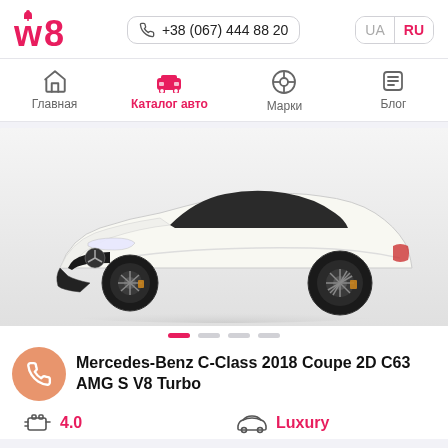w8 | +38 (067) 444 88 20 | UA | RU
Главная | Каталог авто | Марки | Блог
[Figure (photo): White Mercedes-Benz C-Class 2018 Coupe 2D C63 AMG S V8 Turbo on white background, front three-quarter view with black wheels]
Mercedes-Benz C-Class 2018 Coupe 2D C63 AMG S V8 Turbo
4.0
Luxury